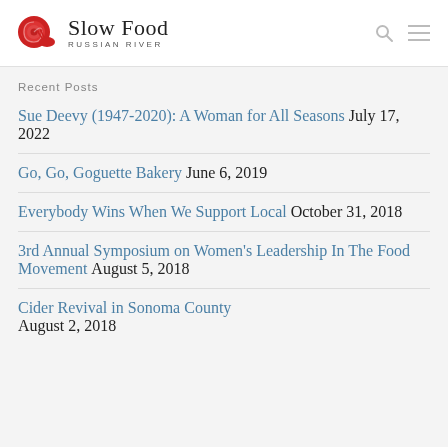Slow Food Russian River
Recent Posts
Sue Deevy (1947-2020): A Woman for All Seasons July 17, 2022
Go, Go, Goguette Bakery June 6, 2019
Everybody Wins When We Support Local October 31, 2018
3rd Annual Symposium on Women's Leadership In The Food Movement August 5, 2018
Cider Revival in Sonoma County August 2, 2018